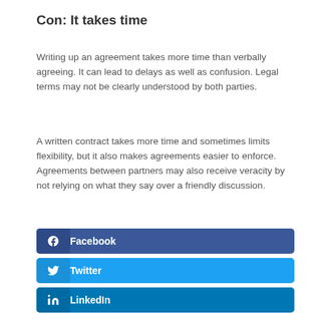Con: It takes time
Writing up an agreement takes more time than verbally agreeing. It can lead to delays as well as confusion. Legal terms may not be clearly understood by both parties.
A written contract takes more time and sometimes limits flexibility, but it also makes agreements easier to enforce. Agreements between partners may also receive veracity by not relying on what they say over a friendly discussion.
[Figure (other): Social share buttons for Facebook, Twitter, and LinkedIn]